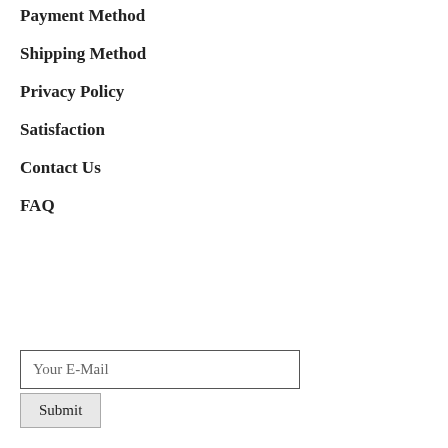Payment Method
Shipping Method
Privacy Policy
Satisfaction
Contact Us
FAQ
Your E-Mail
Submit